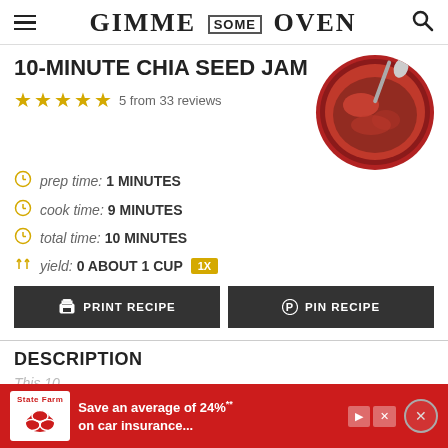GIMME SOME OVEN
10-MINUTE CHIA SEED JAM
5 from 33 reviews
prep time: 1 MINUTES
cook time: 9 MINUTES
total time: 10 MINUTES
yield: 0 ABOUT 1 CUP 1X
[Figure (photo): Bowl of red chia seed jam with spoon]
PRINT RECIPE
PIN RECIPE
DESCRIPTION
This 10... It's
[Figure (infographic): State Farm advertisement: Save an average of 24%** on car insurance...]